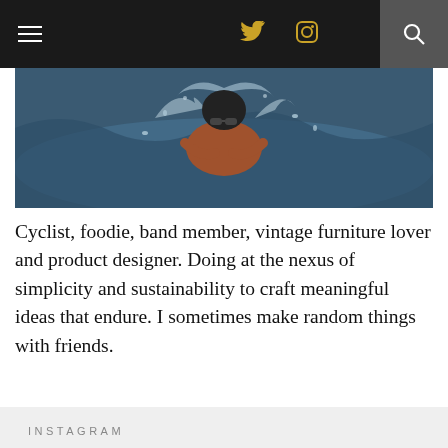Navigation bar with hamburger menu, Twitter icon, Instagram icon, and search icon
[Figure (photo): A swimmer in ocean waves, visible from the waist up, splashing water around them]
Cyclist, foodie, band member, vintage furniture lover and product designer. Doing at the nexus of simplicity and sustainability to craft meaningful ideas that endure. I sometimes make random things with friends.
INSTAGRAM
Instagram did not return a 200.
August 2022
| M | T | W | T | F | S | S |
| --- | --- | --- | --- | --- | --- | --- |
| 1 | 2 | 3 | 4 | 5 | 6 | 7 |